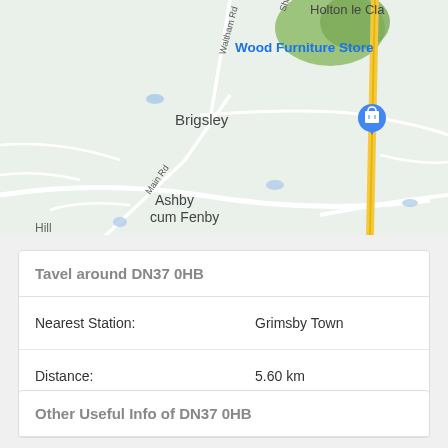[Figure (map): Google Maps view showing Brigsley, Ashby cum Fenby, Holton le Clay area with Wood Furniture Store marker and a blue location pin. Roads including Waltham Rd and Main Rd visible. Yellow road (A-road) on right side. Green wooded area top center-right.]
Tavel around DN37 0HB
| Nearest Station: | Grimsby Town |
| Distance: | 5.60 km |
Other Useful Info of DN37 0HB